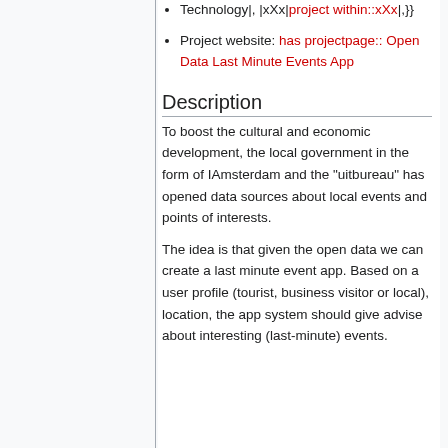Technology|, |xXx|project within::xXx|,}}
Project website: has projectpage:: Open Data Last Minute Events App
Description
To boost the cultural and economic development, the local government in the form of IAmsterdam and the "uitbureau" has opened data sources about local events and points of interests.
The idea is that given the open data we can create a last minute event app. Based on a user profile (tourist, business visitor or local), location, the app system should give advise about interesting (last-minute) events.